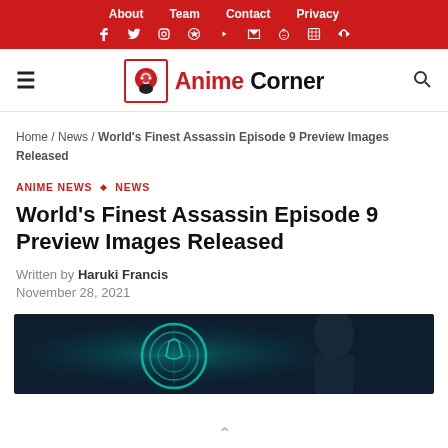About  Team  Contact  Privacy
Anime Corner navigation and social icons
Home / News / World's Finest Assassin Episode 9 Preview Images Released
ANIME NEWS ◇ NEWS
World's Finest Assassin Episode 9 Preview Images Released
Written by Haruki Francis
November 28, 2021
[Figure (illustration): Dark blue-toned anime hero image with a glowing teal circular emblem design, partial view of an anime character]